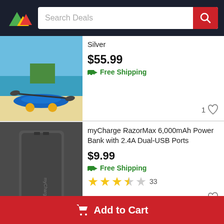[Figure (screenshot): App header with mountain logo and search bar saying 'Search Deals' with red search button]
[Figure (photo): Kayak on a beach with blue water and sand]
Silver
$55.99
Free Shipping
[Figure (photo): Dark gray myCharge RazorMax power bank]
myCharge RazorMax 6,000mAh Power Bank with 2.4A Dual-USB Ports
$9.99
Free Shipping
33
Adidas Men's Ultraboost 21 Running Shoe
Add to Cart